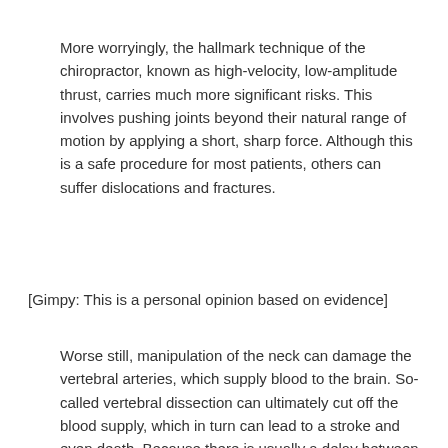More worryingly, the hallmark technique of the chiropractor, known as high-velocity, low-amplitude thrust, carries much more significant risks. This involves pushing joints beyond their natural range of motion by applying a short, sharp force. Although this is a safe procedure for most patients, others can suffer dislocations and fractures.
[Gimpy: This is a personal opinion based on evidence]
Worse still, manipulation of the neck can damage the vertebral arteries, which supply blood to the brain. So-called vertebral dissection can ultimately cut off the blood supply, which in turn can lead to a stroke and even death. Because there is usually a delay between the vertebral dissection and the blockage of blood to the brain, the link between chiropractic and strokes went unnoticed for many years. Recently, however, it has been possible to